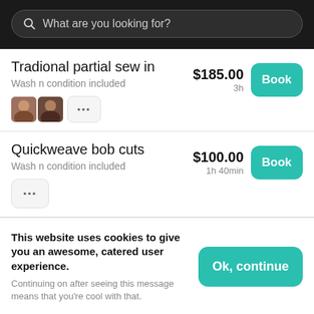What are you looking for?
Tradional partial sew in
Wash n condition included
$185.00
3h
Quickweave bob cuts
Wash n condition included
$100.00
1h 40min
This website uses cookies to give you an awesome, catered user experience. Continuing on after seeing this message means that you're cool with that.
Half up half down sew in
$185.00